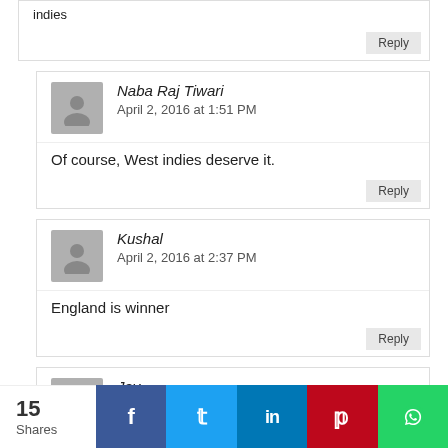indies
Reply
Naba Raj Tiwari
April 2, 2016 at 1:51 PM
Of course, West indies deserve it.
Reply
Kushal
April 2, 2016 at 2:37 PM
England is winner
Reply
Joy
April 3, 2016 at 12:08 AM
15 Shares